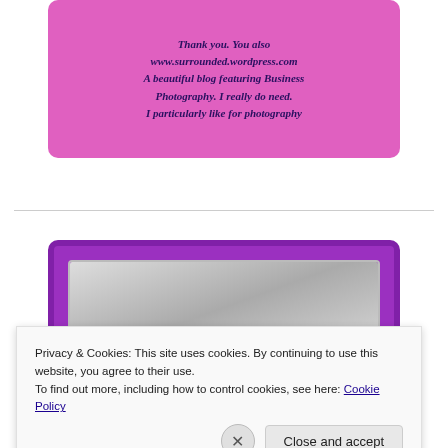[Figure (illustration): A partially visible pink/magenta card with dark purple italic text that appears to say 'Thank you. You also www.surrounded.wordpress.com A beautiful blog featuring Business Photography. I really do need. I particularly like the photography']
[Figure (illustration): A purple-bordered card with a blurred grayscale photograph inside it, and a dark blue banner at the bottom reading 'We all have them!' with circular icons]
Privacy & Cookies: This site uses cookies. By continuing to use this website, you agree to their use.
To find out more, including how to control cookies, see here: Cookie Policy